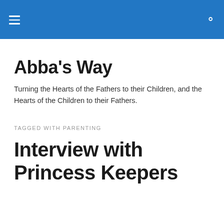Abba's Way — navigation header with hamburger menu and search icon
Abba's Way
Turning the Hearts of the Fathers to their Children, and the Hearts of the Children to their Fathers.
TAGGED WITH PARENTING
Interview with Princess Keepers